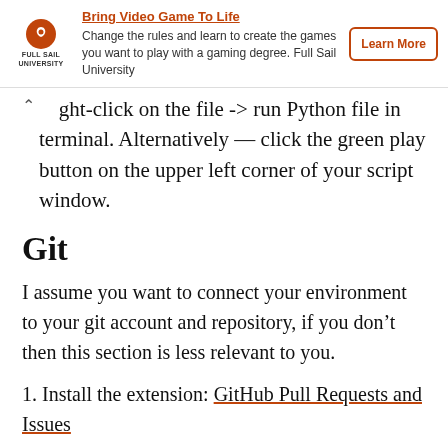[Figure (other): Full Sail University advertisement banner with logo, text 'Change the rules and learn to create the games you want to play with a gaming degree. Full Sail University', and a 'Learn More' button]
Right-click on the file -> run Python file in terminal. Alternatively — click the green play button on the upper left corner of your script window.
Git
I assume you want to connect your environment to your git account and repository, if you don't then this section is less relevant to you.
1. Install the extension: GitHub Pull Requests and Issues